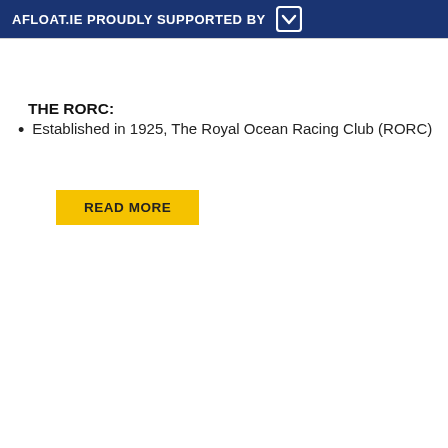AFLOAT.IE PROUDLY SUPPORTED BY
THE RORC:
Established in 1925, The Royal Ocean Racing Club (RORC)
READ MORE